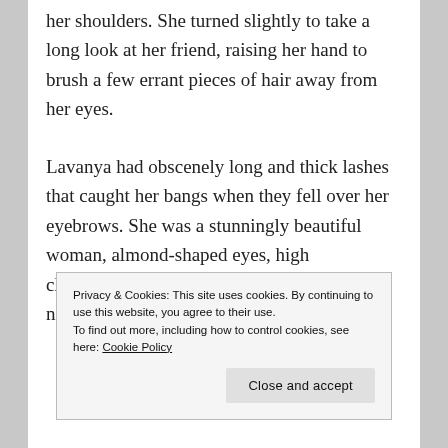her shoulders. She turned slightly to take a long look at her friend, raising her hand to brush a few errant pieces of hair away from her eyes.
Lavanya had obscenely long and thick lashes that caught her bangs when they fell over her eyebrows. She was a stunningly beautiful woman, almond-shaped eyes, high cheekbones that accentuated her slim long nose that pointed to
Privacy & Cookies: This site uses cookies. By continuing to use this website, you agree to their use.
To find out more, including how to control cookies, see here: Cookie Policy